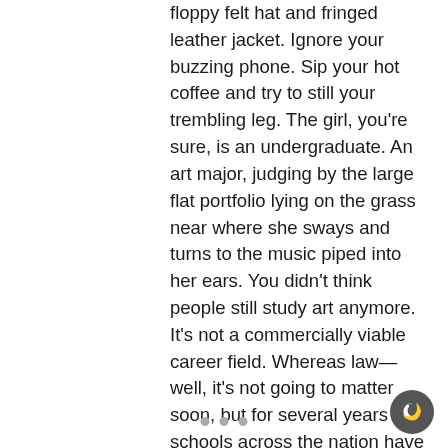floppy felt hat and fringed leather jacket. Ignore your buzzing phone. Sip your hot coffee and try to still your trembling leg. The girl, you're sure, is an undergraduate. An art major, judging by the large flat portfolio lying on the grass near where she sways and turns to the music piped into her ears. You didn't think people still study art anymore. It's not a commercially viable career field. Whereas law—well, it's not going to matter soon, but for several years now schools across the nation have been churning out far more lawyers than the marketplace requires. Your decision to fly to Australia might look insane, but the odds of getting any kind of well-paying job are astronomical. And I know my astronomy.